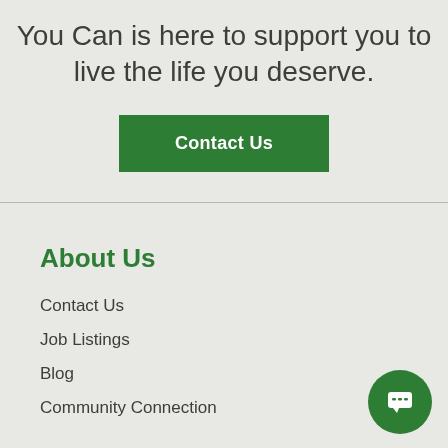You Can is here to support you to live the life you deserve.
Contact Us
About Us
Contact Us
Job Listings
Blog
Community Connection